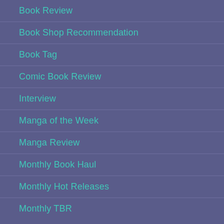Book Review
Book Shop Recommendation
Book Tag
Comic Book Review
Interview
Manga of the Week
Manga Review
Monthly Book Haul
Monthly Hot Releases
Monthly TBR